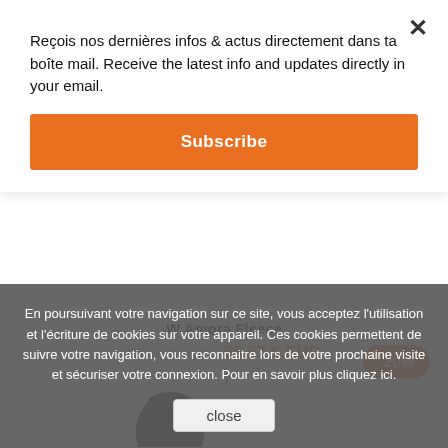Reçois nos dernières infos & actus directement dans ta boîte mail. Receive the latest info and updates directly in your email.
Subscribe
W Amora Fleece
83,33 € EUR  66,67 € EUR
-20%
[Figure (photo): Partial product image (fleece jacket) visible behind overlays]
En poursuivant votre navigation sur ce site, vous acceptez l'utilisation et l'écriture de cookies sur votre appareil. Ces cookies permettent de suivre votre navigation, vous reconnaitre lors de votre prochaine visite et sécuriser votre connexion. Pour en savoir plus cliquez ici.
close